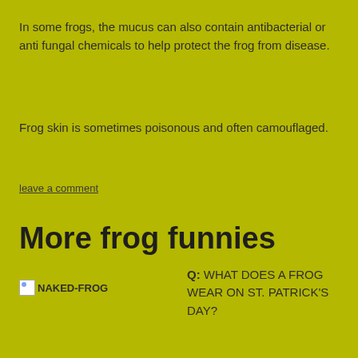In some frogs, the mucus can also contain antibacterial or anti fungal chemicals to help protect the frog from disease.
Frog skin is sometimes poisonous and often camouflaged.
leave a comment
More frog funnies
[Figure (photo): Broken image placeholder labeled NAKED-FROG]
Q: WHAT DOES A FROG WEAR ON ST. PATRICK'S DAY?